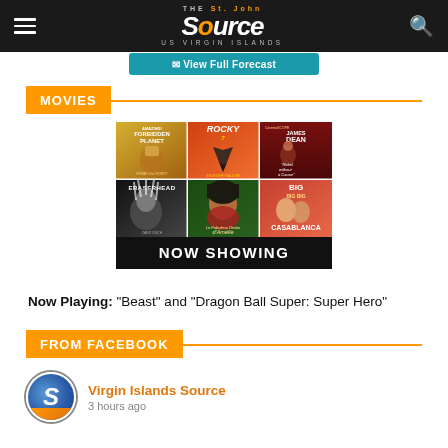THE St. John Source US VIRGIN ISLANDS
[Figure (illustration): Movie poster collage showing 6 classic film posters (Forbidden Planet, Rocky, Rebel Without a Cause, Eraserhead, Amélie, Casablanca) with a NOW SHOWING banner at the bottom]
Now Playing: “Beast” and “Dragon Ball Super: Super Hero”
MOVIES
FROM FACEBOOK
Virgin Islands Source
3 hours ago